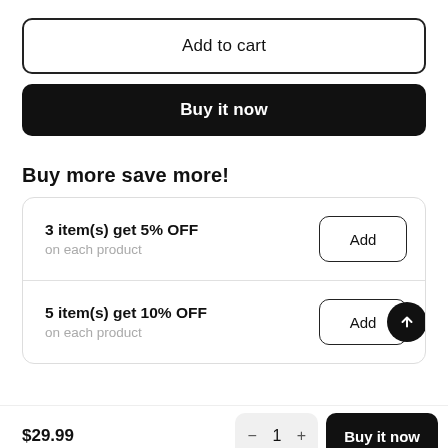Add to cart
Buy it now
Buy more save more!
3 item(s) get 5% OFF on each product
5 item(s) get 10% OFF on each product
$29.99
1
Buy it now